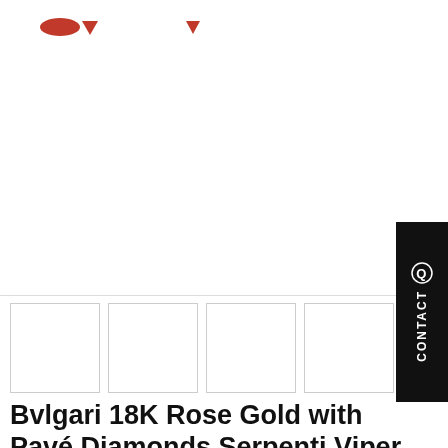[Figure (photo): Main product image area (mostly white/blank) with red navigation arrow elements at top left]
[Figure (photo): Four blank thumbnail image boxes in a row]
Bvlgari 18K Rose Gold with Pavé Diamonds Serpenti Viper Two-coil Bracelet 357278